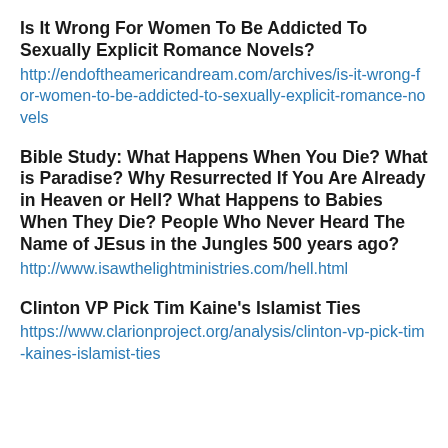Is It Wrong For Women To Be Addicted To Sexually Explicit Romance Novels?
http://endoftheamericandream.com/archives/is-it-wrong-for-women-to-be-addicted-to-sexually-explicit-romance-novels
Bible Study: What Happens When You Die? What is Paradise? Why Resurrected If You Are Already in Heaven or Hell? What Happens to Babies When They Die? People Who Never Heard The Name of JEsus in the Jungles 500 years ago?
http://www.isawthelightministries.com/hell.html
Clinton VP Pick Tim Kaine's Islamist Ties
https://www.clarionproject.org/analysis/clinton-vp-pick-tim-kaines-islamist-ties